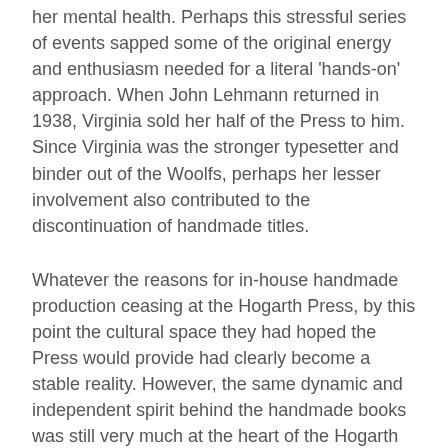her mental health. Perhaps this stressful series of events sapped some of the original energy and enthusiasm needed for a literal 'hands-on' approach. When John Lehmann returned in 1938, Virginia sold her half of the Press to him. Since Virginia was the stronger typesetter and binder out of the Woolfs, perhaps her lesser involvement also contributed to the discontinuation of handmade titles.
Whatever the reasons for in-house handmade production ceasing at the Hogarth Press, by this point the cultural space they had hoped the Press would provide had clearly become a stable reality. However, the same dynamic and independent spirit behind the handmade books was still very much at the heart of the Hogarth Press. What this paper deals with is the rubric of the handmade books themselves, since as objects they are neither fine enough to be